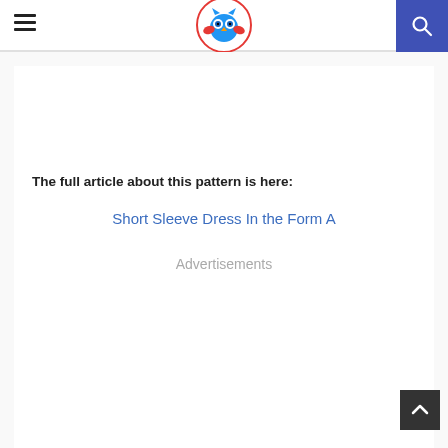Header with hamburger menu, logo, and search button
The full article about this pattern is here:
Short Sleeve Dress In the Form A
Advertisements